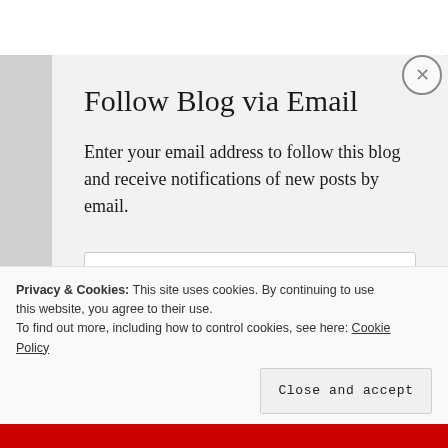Follow Blog via Email
Enter your email address to follow this blog and receive notifications of new posts by email.
Privacy & Cookies: This site uses cookies. By continuing to use this website, you agree to their use.
To find out more, including how to control cookies, see here: Cookie Policy
Close and accept